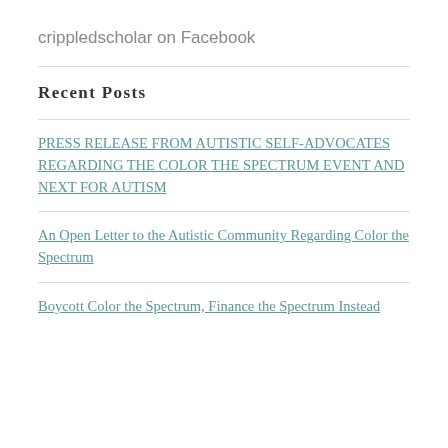crippledscholar on Facebook
Recent Posts
PRESS RELEASE FROM AUTISTIC SELF-ADVOCATES REGARDING THE COLOR THE SPECTRUM EVENT AND NEXT FOR AUTISM
An Open Letter to the Autistic Community Regarding Color the Spectrum
Boycott Color the Spectrum, Finance the Spectrum Instead